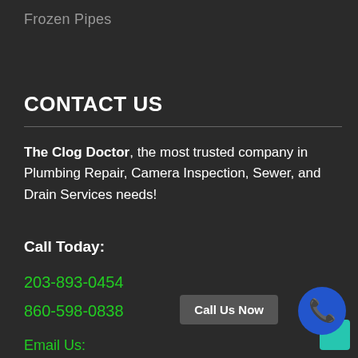Frozen Pipes
CONTACT US
The Clog Doctor, the most trusted company in Plumbing Repair, Camera Inspection, Sewer, and Drain Services needs!
Call Today:
203-893-0454
860-598-0838
Email Us:
Call Us Now
[Figure (illustration): Blue circular phone icon button with white telephone handset symbol]